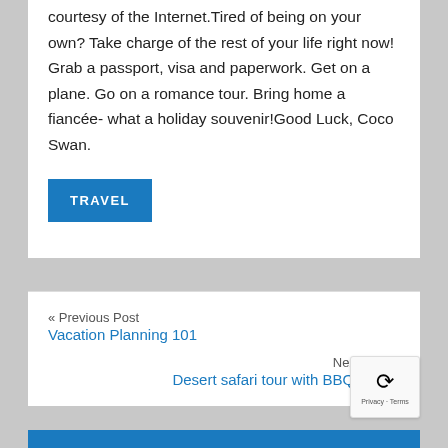courtesy of the Internet.Tired of being on your own? Take charge of the rest of your life right now! Grab a passport, visa and paperwork. Get on a plane. Go on a romance tour. Bring home a fiancée- what a holiday souvenir!Good Luck, Coco Swan.
TRAVEL
« Previous Post
Vacation Planning 101
Next Post »
Desert safari tour with BBQ dinner